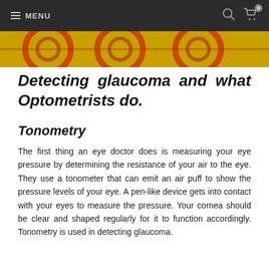MENU
[Figure (illustration): Decorative banner strip with orange/yellow background and abstract eye or circular design elements in red/dark tones]
Detecting glaucoma and what Optometrists do.
Tonometry
The first thing an eye doctor does is measuring your eye pressure by determining the resistance of your air to the eye. They use a tonometer that can emit an air puff to show the pressure levels of your eye. A pen-like device gets into contact with your eyes to measure the pressure. Your cornea should be clear and shaped regularly for it to function accordingly. Tonometry is used in detecting glaucoma.